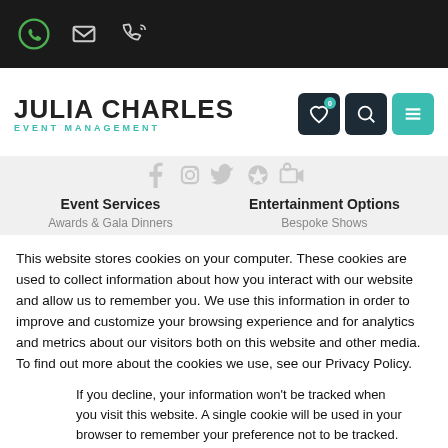[Figure (screenshot): Top navigation bar with WhatsApp, email, and phone icons on dark background]
[Figure (logo): Julia Charles Event Management logo with teal heart, search, and menu icons]
[Figure (screenshot): Social media icons row (Facebook, Instagram, Twitter, Pinterest, LinkedIn) faded]
Event Services
Entertainment Options
Awards & Gala Dinners
Bespoke Shows
This website stores cookies on your computer. These cookies are used to collect information about how you interact with our website and allow us to remember you. We use this information in order to improve and customize your browsing experience and for analytics and metrics about our visitors both on this website and other media. To find out more about the cookies we use, see our Privacy Policy.
If you decline, your information won’t be tracked when you visit this website. A single cookie will be used in your browser to remember your preference not to be tracked.
Accept
Decline